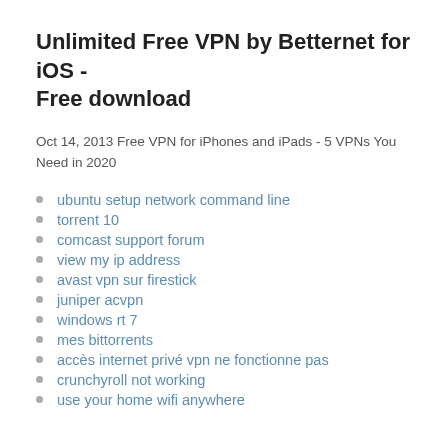Unlimited Free VPN by Betternet for iOS - Free download
Oct 14, 2013 Free VPN for iPhones and iPads - 5 VPNs You Need in 2020
ubuntu setup network command line
torrent 10
comcast support forum
view my ip address
avast vpn sur firestick
juniper acvpn
windows rt 7
mes bittorrents
accès internet privé vpn ne fonctionne pas
crunchyroll not working
use your home wifi anywhere